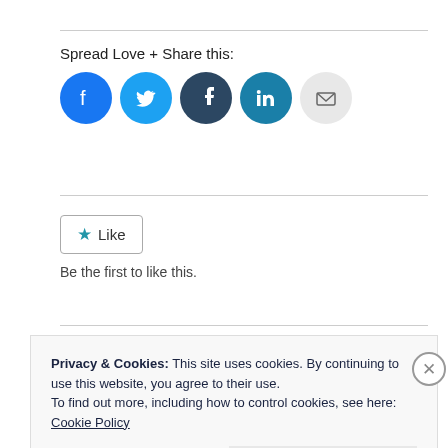Spread Love + Share this:
[Figure (infographic): Row of five social sharing icon buttons: Facebook (blue circle), Twitter (light blue circle), Tumblr (dark blue-grey circle), LinkedIn (teal circle), Email (light grey circle)]
[Figure (infographic): WordPress Like button widget with a blue star icon and 'Like' label, followed by text 'Be the first to like this.']
Be the first to like this.
Privacy & Cookies: This site uses cookies. By continuing to use this website, you agree to their use.
To find out more, including how to control cookies, see here:
Cookie Policy
Close and accept